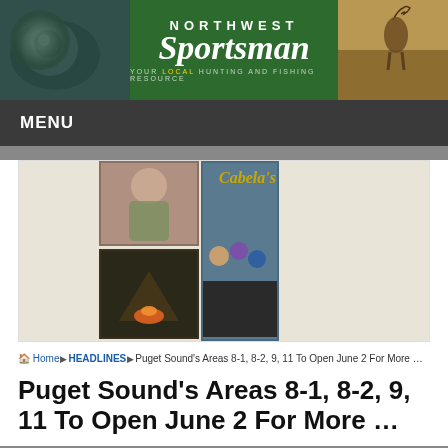[Figure (logo): Northwest Sportsman magazine header banner with fish photo on left, green logo center, elk photo on right]
MENU
[Figure (infographic): Cabela's Summer Savings advertisement — UP TO 50% OFF — with outdoor lifestyle photos]
Home › HEADLINES › Puget Sound's Areas 8-1, 8-2, 9, 11 To Open June 2 For More …
Puget Sound's Areas 8-1, 8-2, 9, 11 To Open June 2 For More …